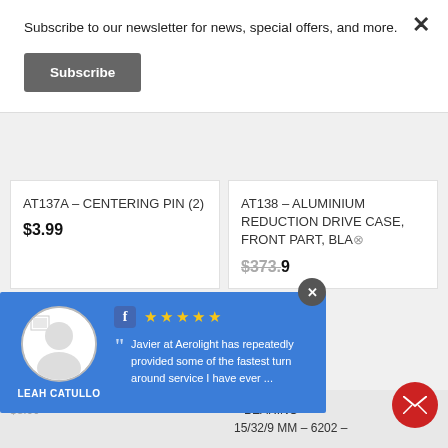Subscribe to our newsletter for news, special offers, and more.
Subscribe
AT137A – CENTERING PIN (2)
$3.99
AT138 – ALUMINIUM REDUCTION DRIVE CASE, FRONT PART, BLA...
$373.99
[Figure (screenshot): Facebook review widget overlay showing reviewer Leah Catullo with 5 stars and quote from Javier at Aerolight about fast turnaround service]
– BEARING 15/32/9 MM – 6202 –